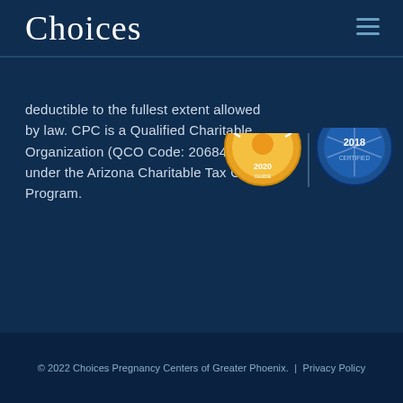Choices
deductible to the fullest extent allowed by law. CPC is a Qualified Charitable Organization (QCO Code: 20684) under the Arizona Charitable Tax Credit Program.
[Figure (logo): Two certification/award badge logos partially visible - one gold/yellow circular badge with '2020' text, one blue circular badge, both partially cropped at the top]
© 2022 Choices Pregnancy Centers of Greater Phoenix.  |  Privacy Policy